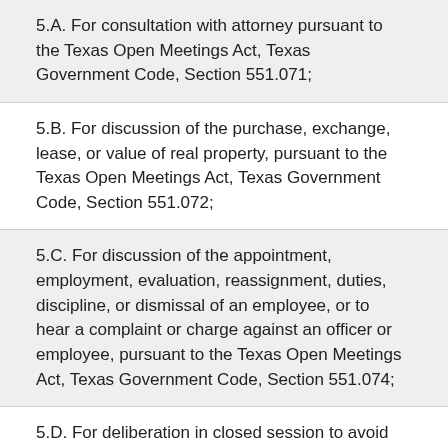5.A. For consultation with attorney pursuant to the Texas Open Meetings Act, Texas Government Code, Section 551.071;
5.B. For discussion of the purchase, exchange, lease, or value of real property, pursuant to the Texas Open Meetings Act, Texas Government Code, Section 551.072;
5.C. For discussion of the appointment, employment, evaluation, reassignment, duties, discipline, or dismissal of an employee, or to hear a complaint or charge against an officer or employee, pursuant to the Texas Open Meetings Act, Texas Government Code, Section 551.074;
5.D. For deliberation in closed session to avoid revealing personally identifiable information about a